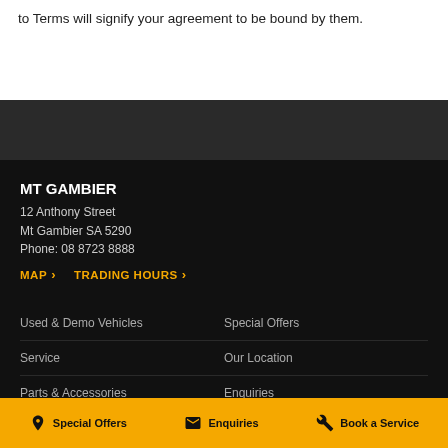to Terms will signify your agreement to be bound by them.
MT GAMBIER
12 Anthony Street
Mt Gambier SA 5290
Phone: 08 8723 8888
MAP > TRADING HOURS >
Used & Demo Vehicles
Special Offers
Service
Our Location
Parts & Accessories
Enquiries
Finance & Insurance
Terms of Use
Special Offers | Enquiries | Book a Service